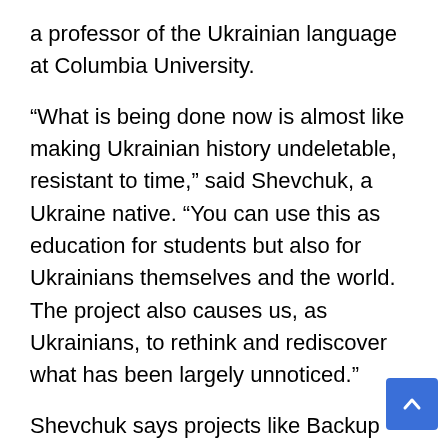a professor of the Ukrainian language at Columbia University.
“What is being done now is almost like making Ukrainian history undeletable, resistant to time,” said Shevchuk, a Ukraine native. “You can use this as education for students but also for Ukrainians themselves and the world. The project also causes us, as Ukrainians, to rethink and rediscover what has been largely unnoticed.”
Shevchuk says projects like Backup Ukraine serve a larger purpose in fighting against Russian aggression and propaganda that does not recognize Ukraine’s unique cultural identity and territorial sovereignty.